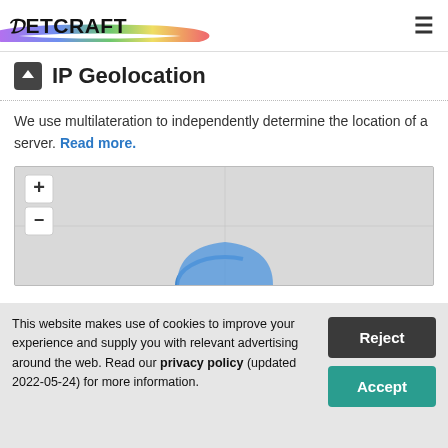Netcraft
IP Geolocation
We use multilateration to independently determine the location of a server. Read more.
[Figure (map): Interactive map with zoom in/out controls and a blue location marker icon in the center-bottom area.]
This website makes use of cookies to improve your experience and supply you with relevant advertising around the web. Read our privacy policy (updated 2022-05-24) for more information.